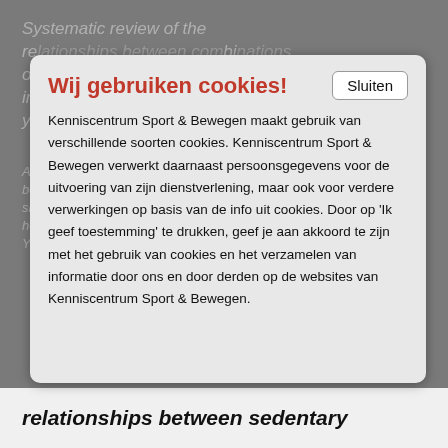Systematic review of the relationships between combinations of movement behaviours and health indicators in the early years (0-4 years) (2017)
A recent review highly deemed important relationships between combinations of movement behaviours (i.e., sleep, sedentary behaviour and physical activity) and health indicators among's 59 countries (in and Youth: 1000 network)
Wij gebruiken cookies!
Kenniscentrum Sport & Bewegen maakt gebruik van verschillende soorten cookies. Kenniscentrum Sport & Bewegen verwerkt daarnaast persoonsgegevens voor de uitvoering van zijn dienstverlening, maar ook voor verdere verwerkingen op basis van de info uit cookies. Door op 'Ik geef toestemming' te drukken, geef je aan akkoord te zijn met het gebruik van cookies en het verzamelen van informatie door ons en door derden op de websites van Kenniscentrum Sport & Bewegen.
Systematic review of the relationships between sedentary